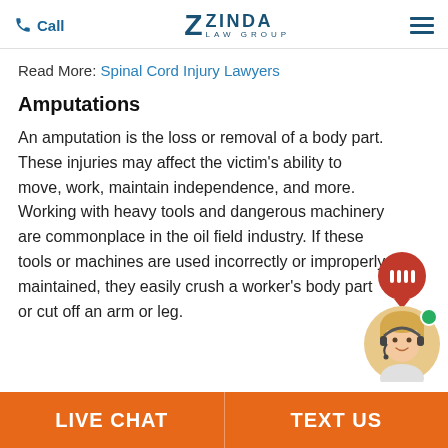Call | ZINDA LAW GROUP
Read More: Spinal Cord Injury Lawyers
Amputations
An amputation is the loss or removal of a body part. These injuries may affect the victim's ability to move, work, maintain independence, and more. Working with heavy tools and dangerous machinery are commonplace in the oil field industry. If these tools or machines are used incorrectly or improperly maintained, they easily crush a worker's body part or cut of or leg.
[Figure (other): Live chat agent avatar with red chat bubble and green online indicator dot]
LIVE CHAT | TEXT US